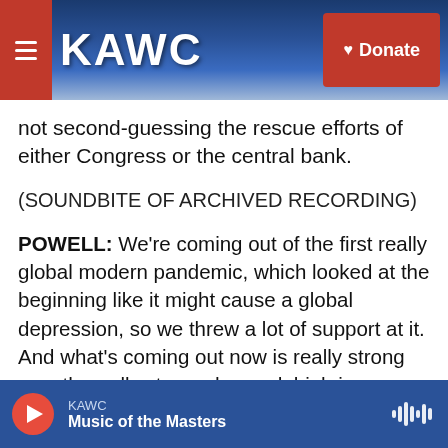KAWC — Donate
not second-guessing the rescue efforts of either Congress or the central bank.
(SOUNDBITE OF ARCHIVED RECORDING)
POWELL: We're coming out of the first really global modern pandemic, which looked at the beginning like it might cause a global depression, so we threw a lot of support at it. And what's coming out now is really strong growth, really strong demand, high incomes and all that kind of thing. People will judge in 25 years whether we overdid it or not.
HORSLEY: Of course, that judgment will depend a
KAWC — Music of the Masters